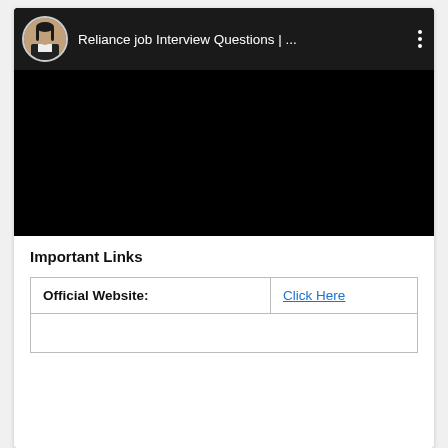[Figure (screenshot): A video player screenshot showing a dark/black video frame. The top bar shows a circular avatar photo of a woman, followed by the title 'Reliance job Interview Questions | ...' and a vertical three-dots menu icon.]
Important Links
| Official Website: | Click Here |